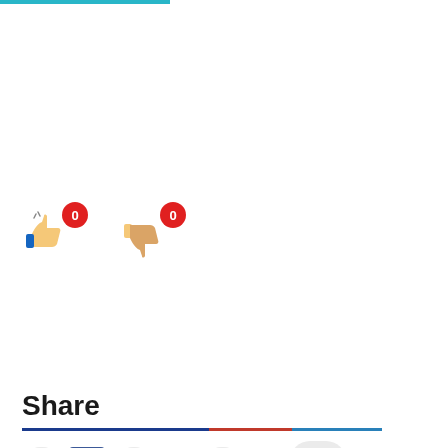[Figure (infographic): Thumbs up icon with blue hand and sparks, showing count badge '0'; Thumbs down icon with tan hand, showing count badge '0']
Share
[Figure (infographic): Social share buttons row: add/Facebook, add/Twitter, add/Pinterest, LinkedIn]